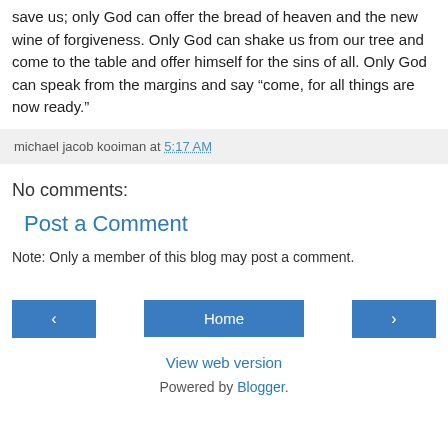save us; only God can offer the bread of heaven and the new wine of forgiveness. Only God can shake us from our tree and come to the table and offer himself for the sins of all. Only God can speak from the margins and say “come, for all things are now ready.”
michael jacob kooiman at 5:17 AM
No comments:
Post a Comment
Note: Only a member of this blog may post a comment.
‹  Home  ›
View web version
Powered by Blogger.